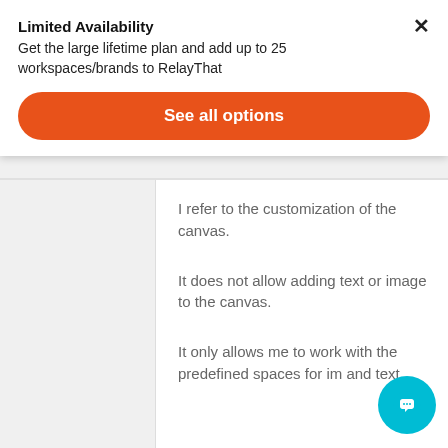Limited Availability
Get the large lifetime plan and add up to 25 workspaces/brands to RelayThat
See all options
I refer to the customization of the canvas.
It does not allow adding text or image to the canvas.
It only allows me to work with the predefined spaces for im and text.